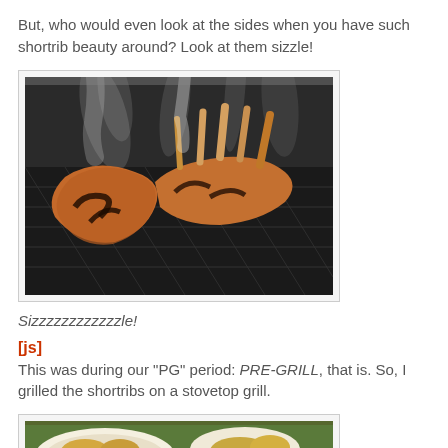But, who would even look at the sides when you have such shortrib beauty around? Look at them sizzle!
[Figure (photo): Sizzling shortribs on a stovetop grill pan with smoke rising]
Sizzzzzzzzzzzzle!
[js]
This was during our "PG" period: PRE-GRILL, that is. So, I grilled the shortribs on a stovetop grill.
[Figure (photo): Partial view of a plate of food, bottom of page]